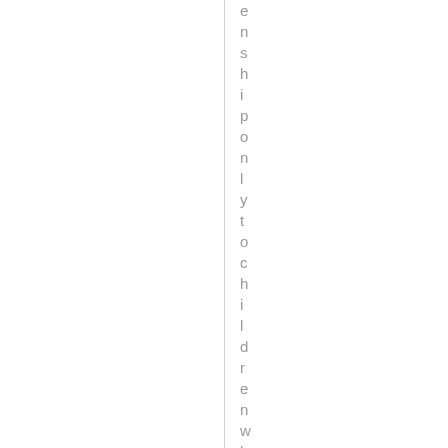enship only to children who go